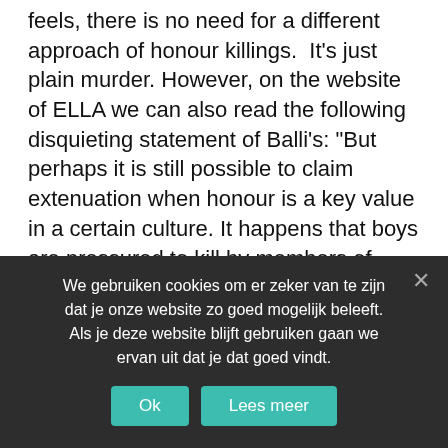feels, there is no need for a different approach of honour killings.  It's just plain murder. However, on the website of ELLA we can also read the following disquieting statement of Balli's: "But perhaps it is still possible to claim extenuation when honour is a key value in a certain culture. It happens that boys are pressured to kill by members of their family. Therefore, it's of utmost importance that instigating relatives are called to account as well." Of course we do want to have every active and passive accessory to an honour killing being locked up. Also all forms of negligent omission ought to be regarded in such cases. However, we refuse to accept that the perpetrators' cultural background could be considered as a mitigating element. There can't be anything mitigating about honour killings. A felony of this kind always results from malice aforethought. With honour comes the hardest prosecution circumstances...
We gebruiken cookies om er zeker van te zijn dat je onze website zo goed mogelijk beleeft. Als je deze website blijft gebruiken gaan we ervan uit dat je dat goed vindt.